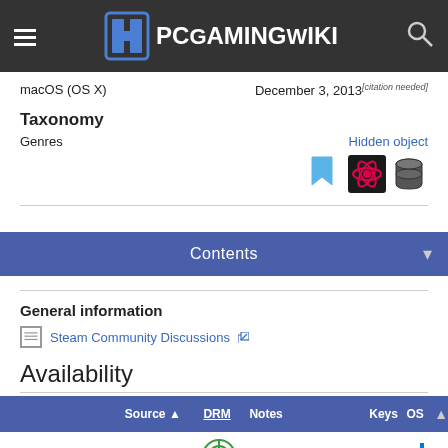PCGamingWiki
macOS (OS X)   December 3, 2013 [citation needed]
Taxonomy
Genres   Hidden object
Contents
General information
Steam Community Discussions
Availability
| Source | DRM | Notes | Keys | OS |
| --- | --- | --- | --- | --- |
| GamersGate |  |  |  |  |